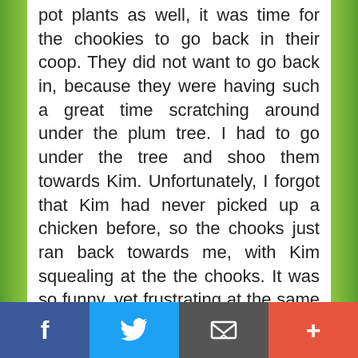pot plants as well, it was time for the chookies to go back in their coop. They did not want to go back in, because they were having such a great time scratching around under the plum tree. I had to go under the tree and shoo them towards Kim. Unfortunately, I forgot that Kim had never picked up a chicken before, so the chooks just ran back towards me, with Kim squealing at the the chooks. It was so funny, yet frustrating at the same time. Eventually we got them all back in after about 10 minutes of mucking around. All for a 2 metre trip back to their coop!

Then it was time for a rest, as I was
Facebook | Twitter | Email | +